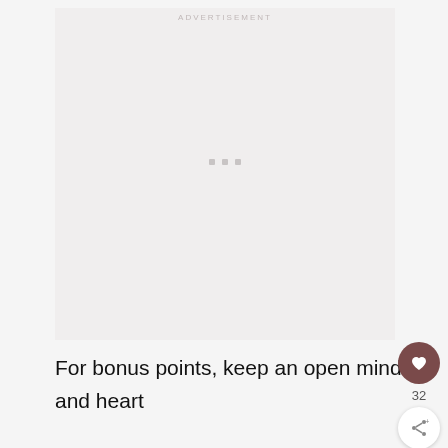[Figure (other): Advertisement placeholder box with loading dots in center, light gray background]
For bonus points, keep an open mind and heart

and notice if they say hi back.